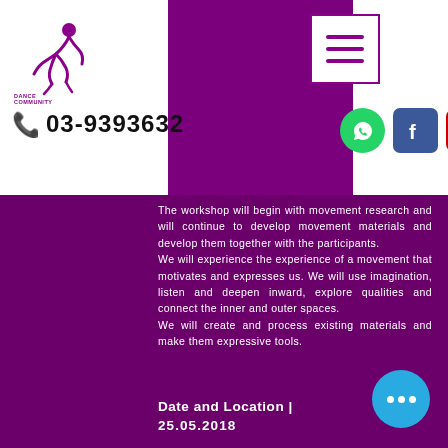[Figure (logo): Dance Community Club logo with dancer silhouette in purple and text 'DANCE COMMUNITY CLUB']
[Figure (other): Hamburger menu icon with three horizontal lines in purple border box]
03-9393632
[Figure (other): Social media icons: WhatsApp (green), Facebook (blue), YouTube (red), Instagram (teal)]
The workshop will begin with movement research and will continue to develop movement materials and develop them together with the participants. We will experience the experience of a movement that motivates and expresses us. We will use imagination, listen and deepen inward, explore qualities and connect the inner and outer spaces. We will create and process existing materials and make them expressive tools.
Date and Location |
25.05.2018
[Figure (other): Blue circular chat bubble with three white dots]